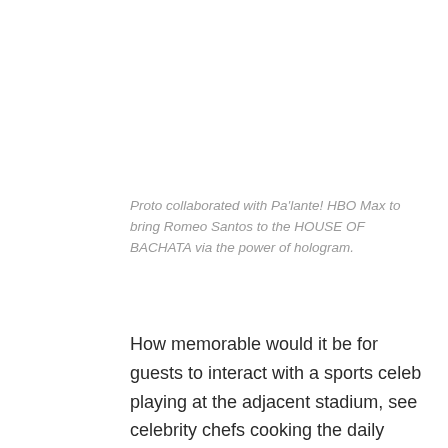Proto collaborated with Pa'lante! HBO Max to bring Romeo Santos to the HOUSE OF BACHATA via the power of hologram.
How memorable would it be for guests to interact with a sports celeb playing at the adjacent stadium, see celebrity chefs cooking the daily special, or meet the brand president on arrival? It's not only entertaining, but it's the type of next-